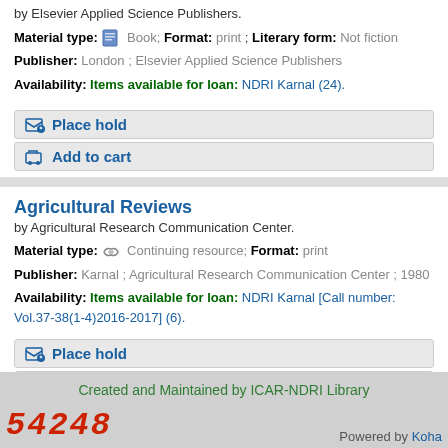by Elsevier Applied Science Publishers.
Material type: Book; Format: print ; Literary form: Not fiction
Publisher: London ; Elsevier Applied Science Publishers
Availability: Items available for loan: NDRI Karnal (24).
Place hold
Add to cart
Agricultural Reviews
by Agricultural Research Communication Center.
Material type: Continuing resource; Format: print
Publisher: Karnal ; Agricultural Research Communication Center ; 1980
Availability: Items available for loan: NDRI Karnal [Call number: Vol.37-38(1-4)2016-2017] (6).
Place hold
Add to cart
Created and Maintained by ICAR-NDRI Library
Powered by Koha